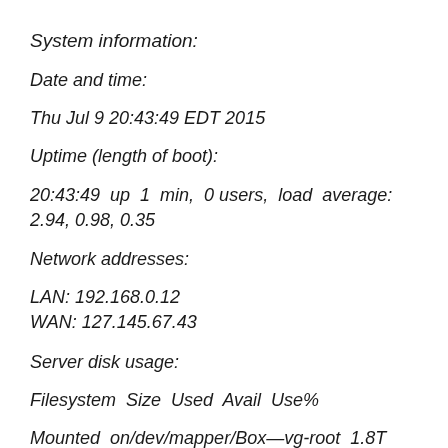System information:
Date and time:
Thu Jul 9 20:43:49 EDT 2015
Uptime (length of boot):
20:43:49 up 1 min, 0 users, load average: 2.94, 0.98, 0.35
Network addresses:
LAN: 192.168.0.12
WAN: 127.145.67.43
Server disk usage:
Filesystem Size Used Avail Use%
Mounted on/dev/mapper/Box—vg-root 1.8T 1.5T 266G 85% /